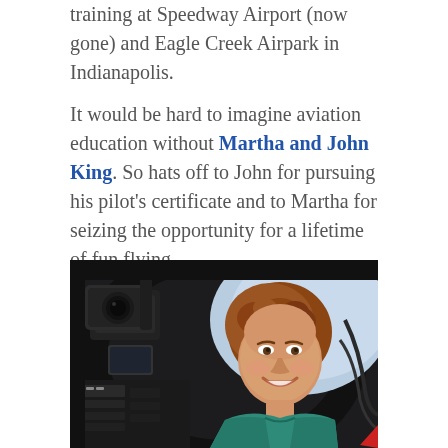training at Speedway Airport (now gone) and Eagle Creek Airpark in Indianapolis.
It would be hard to imagine aviation education without Martha and John King. So hats off to John for pursuing his pilot's certificate and to Martha for seizing the opportunity for a lifetime of fun flying.
[Figure (photo): Woman smiling inside an aircraft cockpit, surrounded by camera equipment and avionics panels. She has short curly reddish-brown hair and is wearing a teal polo shirt.]